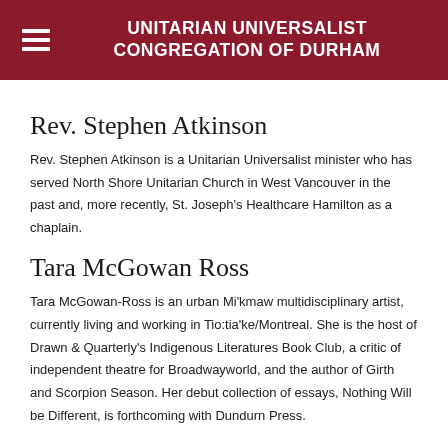UNITARIAN UNIVERSALIST CONGREGATION OF DURHAM
Rev. Stephen Atkinson
Rev. Stephen Atkinson is a Unitarian Universalist minister who has served North Shore Unitarian Church in West Vancouver in the past and, more recently, St. Joseph's Healthcare Hamilton as a chaplain.
Tara McGowan Ross
Tara McGowan-Ross is an urban Mi'kmaw multidisciplinary artist, currently living and working in Tio:tia'ke/Montreal. She is the host of Drawn & Quarterly's Indigenous Literatures Book Club, a critic of independent theatre for Broadwayworld, and the author of Girth and Scorpion Season. Her debut collection of essays, Nothing Will be Different, is forthcoming with Dundurn Press.